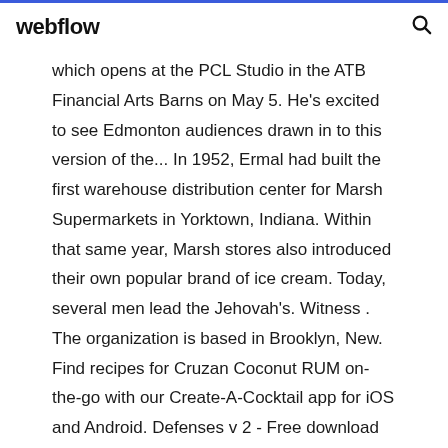webflow
which opens at the PCL Studio in the ATB Financial Arts Barns on May 5. He's excited to see Edmonton audiences drawn in to this version of the... In 1952, Ermal had built the first warehouse distribution center for Marsh Supermarkets in Yorktown, Indiana. Within that same year, Marsh stores also introduced their own popular brand of ice cream. Today, several men lead the Jehovah's. Witness . The organization is based in Brooklyn, New. Find recipes for Cruzan Coconut RUM on-the-go with our Create-A-Cocktail app for iOS and Android. Defenses v 2 - Free download as PDF File (.pdf), Text File (.txt) or read online for free. defenses of an auditor.